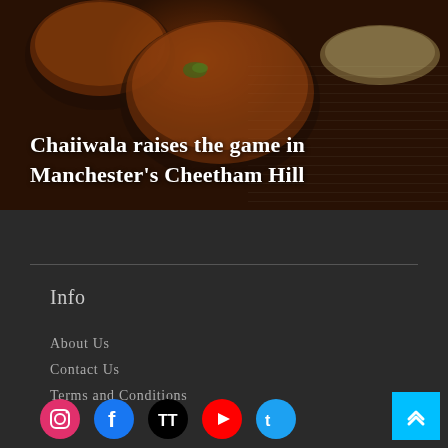[Figure (photo): Photo of Indian food dishes including curry in metal bowls placed on newspaper, with naan bread visible on the right side]
Chaiiwala raises the game in Manchester's Cheetham Hill
Info
About Us
Contact Us
Terms and Conditions
[Figure (logo): Social media icons row: Instagram (pink/red circle), Facebook (blue circle), TikTok (black circle), YouTube (red circle), Twitter (light blue circle)]